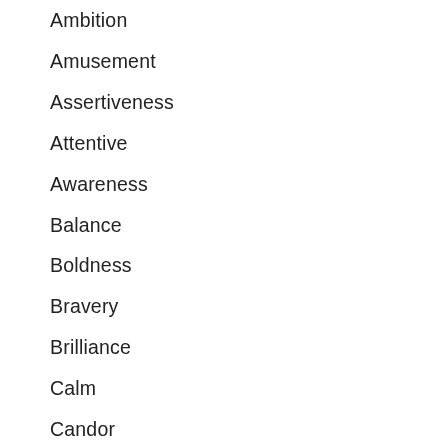Ambition
Amusement
Assertiveness
Attentive
Awareness
Balance
Boldness
Bravery
Brilliance
Calm
Candor
Capable
Careful
Certainty
Challenge
Charity